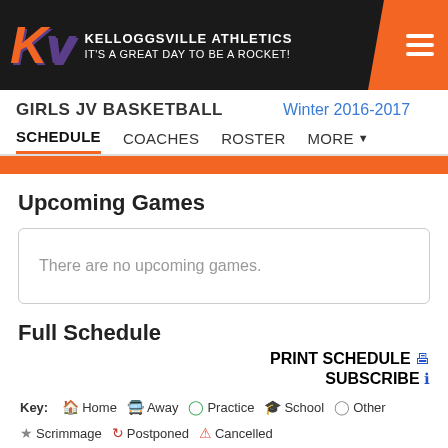KELLOGGSVILLE ATHLETICS IT'S A GREAT DAY TO BE A ROCKET!
GIRLS JV BASKETBALL   Winter 2016-2017
SCHEDULE   COACHES   ROSTER   MORE
Upcoming Games
There are no upcoming games.
Full Schedule
PRINT SCHEDULE
SUBSCRIBE
Key: Home Away Practice School Other Scrimmage Postponed Cancelled